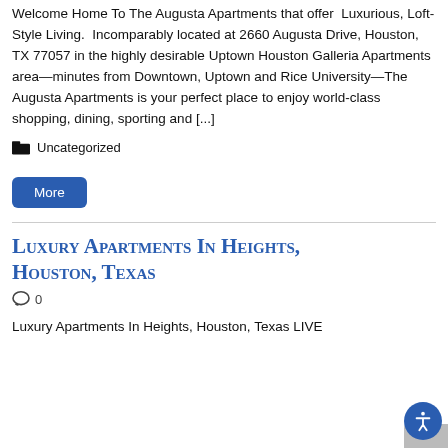Welcome Home To The Augusta Apartments that offer Luxurious, Loft-Style Living. Incomparably located at 2660 Augusta Drive, Houston, TX 77057 in the highly desirable Uptown Houston Galleria Apartments area—minutes from Downtown, Uptown and Rice University—The Augusta Apartments is your perfect place to enjoy world-class shopping, dining, sporting and [...]
Uncategorized
More
Luxury Apartments In Heights, Houston, Texas
0
Luxury Apartments In Heights, Houston, Texas LIVE